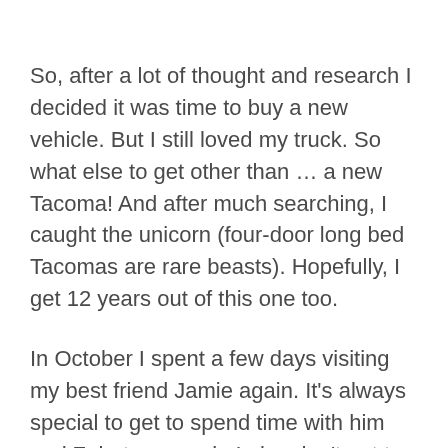So, after a lot of thought and research I decided it was time to buy a new vehicle. But I still loved my truck. So what else to get other than … a new Tacoma! And after much searching, I caught the unicorn (four-door long bed Tacomas are rare beasts). Hopefully, I get 12 years out of this one too.
In October I spent a few days visiting my best friend Jamie again. It's always special to get to spend time with him and Zeb, two people I also don't get to see nearly enough of.